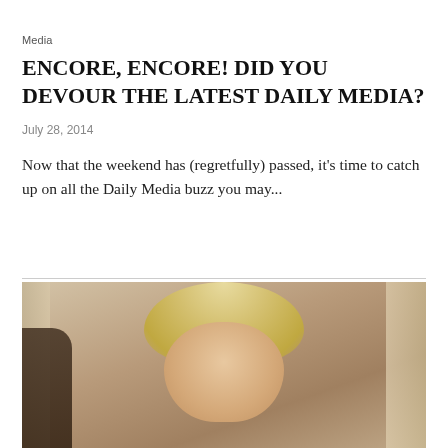Media
ENCORE, ENCORE! DID YOU DEVOUR THE LATEST DAILY MEDIA?
July 28, 2014
Now that the weekend has (regretfully) passed, it’s time to catch up on all the Daily Media buzz you may...
[Figure (photo): Close-up photo of a blonde woman with short hair, wearing earrings, in an indoor setting with curtain/column background and a dark-suited figure partially visible on the left.]